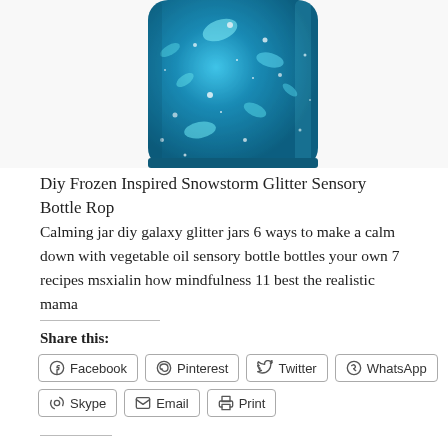[Figure (photo): A blue glitter sensory bottle filled with teal/blue glitter and sparkles, photographed against a white background, showing only the bottom portion of the bottle.]
Diy Frozen Inspired Snowstorm Glitter Sensory Bottle Rop
Calming jar diy galaxy glitter jars 6 ways to make a calm down with vegetable oil sensory bottle bottles your own 7 recipes msxialin how mindfulness 11 best the realistic mama
Share this:
Facebook
Pinterest
Twitter
WhatsApp
Skype
Email
Print